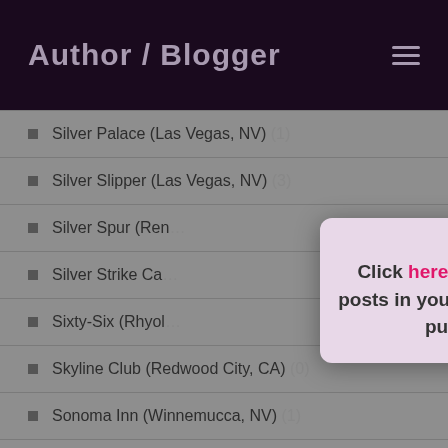Author / Blogger
Silver Palace (Las Vegas, NV) (1)
Silver Slipper (Las Vegas, NV) (3)
Silver Spur (Ren…
Silver Strike Ca…
Sixty-Six (Rhyol…
Skyline Club (Redwood City, CA) (0)
Sonoma Inn (Winnemucca, NV) (1)
South Tahoe Nugget (Stateline, NV) (1)
[Figure (screenshot): Modal popup with close button (x) and text: Click here to receive blog posts in your inbox as they're published.]